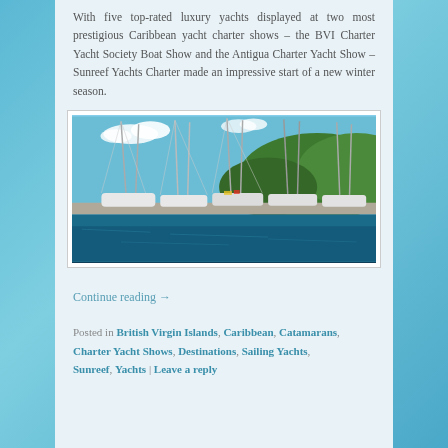With five top-rated luxury yachts displayed at two most prestigious Caribbean yacht charter shows – the BVI Charter Yacht Society Boat Show and the Antigua Charter Yacht Show – Sunreef Yachts Charter made an impressive start of a new winter season.
[Figure (photo): Sailing yachts and catamarans docked at a marina with tall masts, with a green mountainous hill in the background under a blue sky with white clouds.]
Continue reading →
Posted in British Virgin Islands, Caribbean, Catamarans, Charter Yacht Shows, Destinations, Sailing Yachts, Sunreef, Yachts | Leave a reply